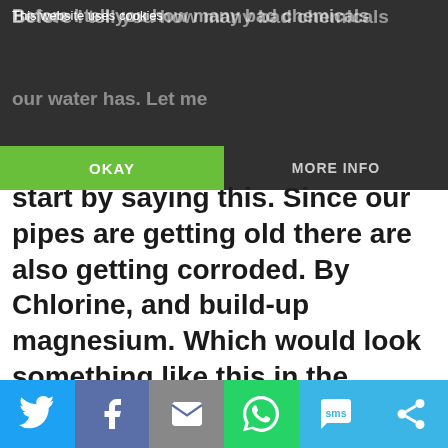This website uses cookies | OKAY | MORE INFO
start by saying this. Since our pipes are getting old there are also getting corroded. By Chlorine, and build-up magnesium. Which would look something like this in the picture below. The next picture is an underground pipe that had calcium and magnesium build-up. As you can see why they had to replace it. This will cause overflow from storms, and
Social share bar: Twitter, Facebook, Email, WhatsApp, SMS, Share